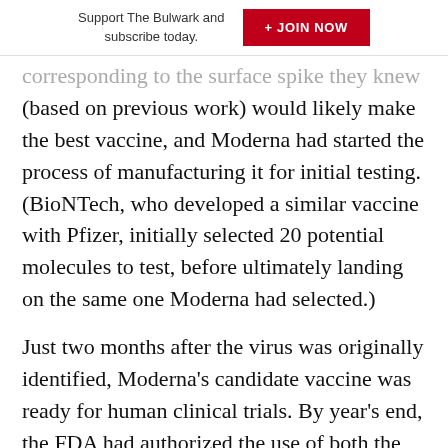Support The Bulwark and subscribe today.  + JOIN NOW
corresponding to the surface spike they knew (based on previous work) would likely make the best vaccine, and Moderna had started the process of manufacturing it for initial testing. (BioNTech, who developed a similar vaccine with Pfizer, initially selected 20 potential molecules to test, before ultimately landing on the same one Moderna had selected.)
Just two months after the virus was originally identified, Moderna’s candidate vaccine was ready for human clinical trials. By year’s end, the FDA had authorized the use of both the Moderna and the BioNTech mRNA vaccines, based on the